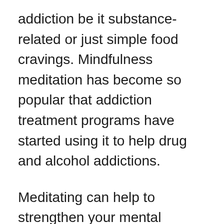addiction be it substance-related or just simple food cravings. Mindfulness meditation has become so popular that addiction treatment programs have started using it to help drug and alcohol addictions.
Meditating can help to strengthen your mental discipline and break away from any addiction or dependencies you may have. It can improve your self-control and awareness, so you know how to handle your addiction better.